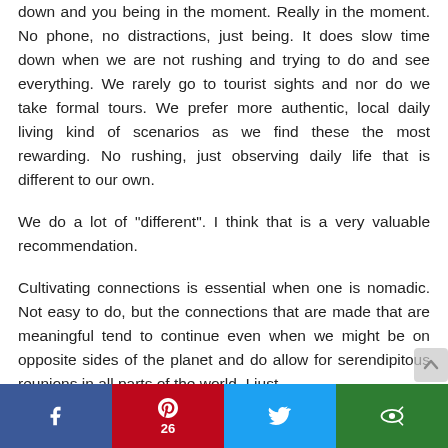down and you being in the moment. Really in the moment. No phone, no distractions, just being. It does slow time down when we are not rushing and trying to do and see everything. We rarely go to tourist sights and nor do we take formal tours. We prefer more authentic, local daily living kind of scenarios as we find these the most rewarding. No rushing, just observing daily life that is different to our own.
We do a lot of "different". I think that is a very valuable recommendation.
Cultivating connections is essential when one is nomadic. Not easy to do, but the connections that are made that are meaningful tend to continue even when we might be on opposite sides of the planet and do allow for serendipitous reunions in all parts of the world. I just
[Figure (infographic): Social sharing bar at bottom: Facebook (blue), Pinterest (red, count 26), Twitter (light blue), More/share (green)]